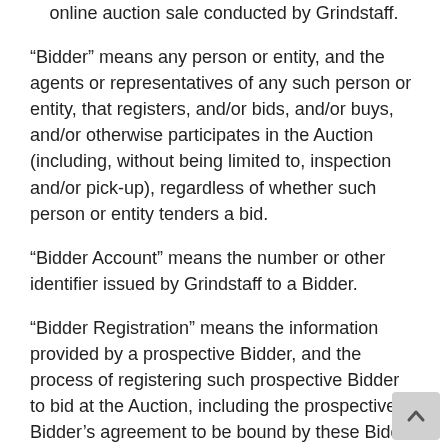online auction sale conducted by Grindstaff.
“Bidder” means any person or entity, and the agents or representatives of any such person or entity, that registers, and/or bids, and/or buys, and/or otherwise participates in the Auction (including, without being limited to, inspection and/or pick-up), regardless of whether such person or entity tenders a bid.
“Bidder Account” means the number or other identifier issued by Grindstaff to a Bidder.
“Bidder Registration” means the information provided by a prospective Bidder, and the process of registering such prospective Bidder to bid at the Auction, including the prospective Bidder’s agreement to be bound by these Bidder Terms and Conditions.
“Bidder Terms and Conditions” means these Bidder Terms and Conditions.